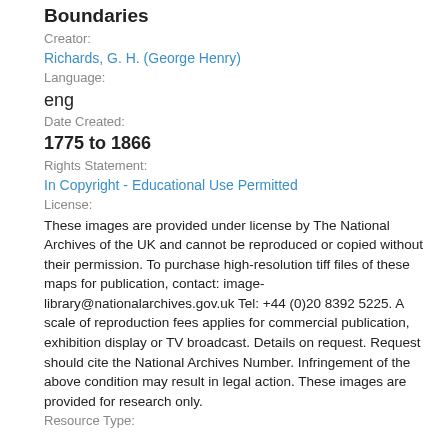Boundaries
Creator:
Richards, G. H. (George Henry)
Language:
eng
Date Created:
1775 to 1866
Rights Statement:
In Copyright - Educational Use Permitted
License:
These images are provided under license by The National Archives of the UK and cannot be reproduced or copied without their permission. To purchase high-resolution tiff files of these maps for publication, contact: image-library@nationalarchives.gov.uk Tel: +44 (0)20 8392 5225. A scale of reproduction fees applies for commercial publication, exhibition display or TV broadcast. Details on request. Request should cite the National Archives Number. Infringement of the above condition may result in legal action. These images are provided for research only.
Resource Type: